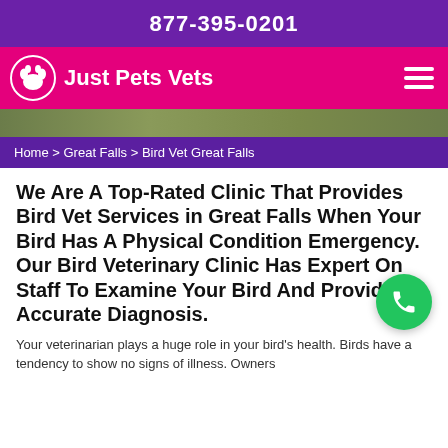877-395-0201
Just Pets Vets
Home > Great Falls > Bird Vet Great Falls
We Are A Top-Rated Clinic That Provides Bird Vet Services in Great Falls When Your Bird Has A Physical Condition Emergency. Our Bird Veterinary Clinic Has Expert On Staff To Examine Your Bird And Provide An Accurate Diagnosis.
Your veterinarian plays a huge role in your bird's health. Birds have a tendency to show no signs of illness. Owners